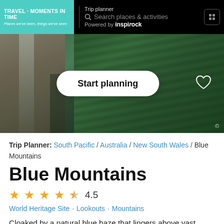TRAVEL - MOMENTS IN TIME · Places we've been, things we've seen · Trip planner · Search places & activities · Powered by inspirock
[Figure (photo): Aerial/drone photo of Blue Mountains showing waterfall, sandstone cliffs, and dense eucalyptus forest canopy. A 'Start planning' button overlays the center of the image, and a heart icon is on the right.]
Trip Planner: South Pacific / Australia / New South Wales / Blue Mountains
Blue Mountains
4.5 (star rating)
World Heritage Site · Lookouts · Mountains
Cloaked by a natural blue haze that lingers above vast eucalypt forests and rugged sandstone tablelands, Blue Mountains remain Australia's most accessible